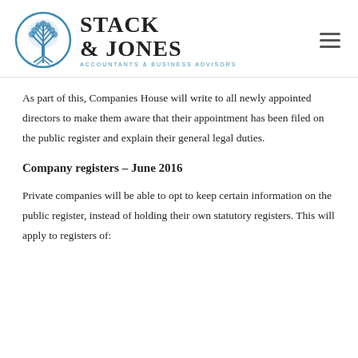[Figure (logo): Stack & Jones Accountants & Business Advisors logo with circular tree emblem in blue]
As part of this, Companies House will write to all newly appointed directors to make them aware that their appointment has been filed on the public register and explain their general legal duties.
Company registers – June 2016
Private companies will be able to opt to keep certain information on the public register, instead of holding their own statutory registers. This will apply to registers of: